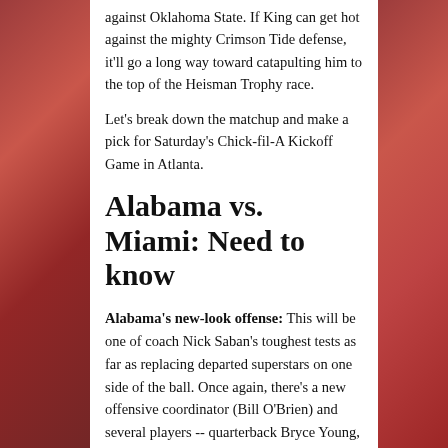against Oklahoma State. If King can get hot against the mighty Crimson Tide defense, it'll go a long way toward catapulting him to the top of the Heisman Trophy race.
Let's break down the matchup and make a pick for Saturday's Chick-fil-A Kickoff Game in Atlanta.
Alabama vs. Miami: Need to know
Alabama's new-look offense: This will be one of coach Nick Saban's toughest tests as far as replacing departed superstars on one side of the ball. Once again, there's a new offensive coordinator (Bill O'Brien) and several players -- quarterback Bryce Young, running back Brian Robinson and wide receiver John Metchie III among them -- expected to take on massive roles in 2021. Young, the former No. 2 overall prospect in the Class of 2020, will add the quarterback running game into the Tide's arsenal after Jones operated in more of a traditional offense last year. It'll be an